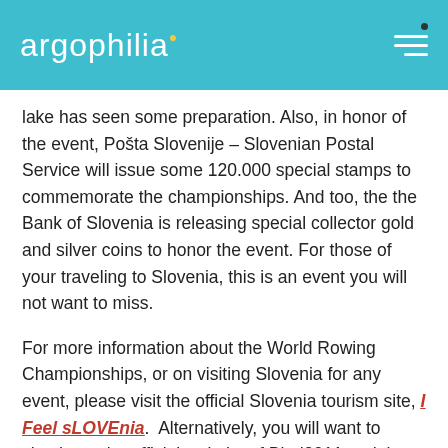argophilia
lake has seen some preparation. Also, in honor of the event, Pošta Slovenije – Slovenian Postal Service will issue some 120.000 special stamps to commemorate the championships. And too, the the Bank of Slovenia is releasing special collector gold and silver coins to honor the event. For those of your traveling to Slovenia, this is an event you will not want to miss.
For more information about the World Rowing Championships, or on visiting Slovenia for any event, please visit the official Slovenia tourism site, I Feel sLOVEnia. Alternatively, you will want to check out the official website of Bled2011 and the World Rowing Championship website – or their Facebook profile. We leave you with a YouTube Channel video from the Slovenian Tourist Board (STB) – one of the best in